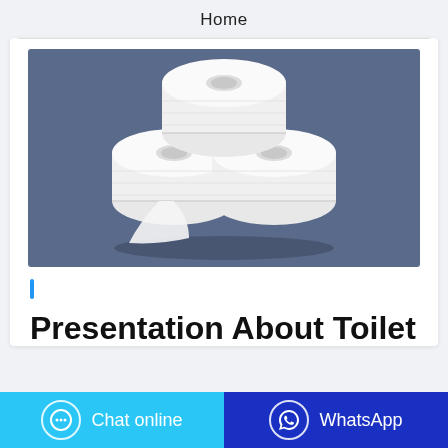Home
[Figure (illustration): Three white toilet paper rolls on a slate blue/grey background]
Presentation About Toilet
Chat online
WhatsApp